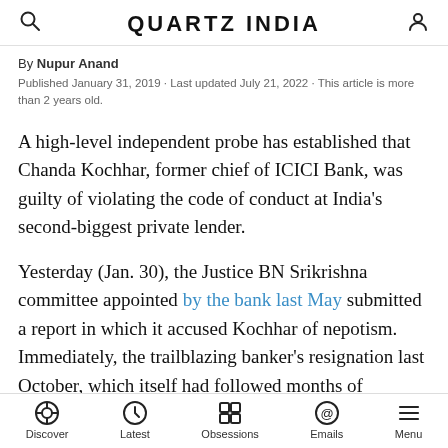QUARTZ INDIA
By Nupur Anand
Published January 31, 2019 · Last updated July 21, 2022 · This article is more than 2 years old.
A high-level independent probe has established that Chanda Kochhar, former chief of ICICI Bank, was guilty of violating the code of conduct at India's second-biggest private lender.
Yesterday (Jan. 30), the Justice BN Srikrishna committee appointed by the bank last May submitted a report in which it accused Kochhar of nepotism. Immediately, the trailblazing banker's resignation last October, which itself had followed months of extended leave, was treated as termination by the bank's board of directors.
Discover · Latest · Obsessions · Emails · Menu